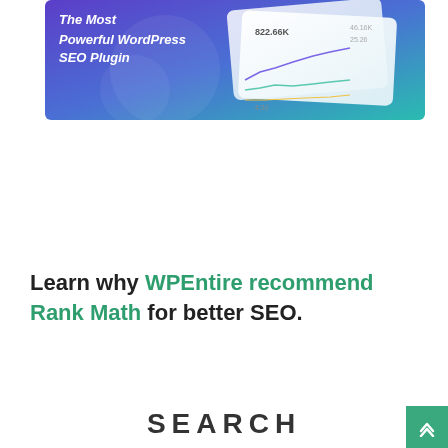[Figure (screenshot): Banner image for Rank Math SEO plugin showing 'The Most Powerful WordPress SEO Plugin' text on a purple/blue gradient background with analytics dashboard cards showing metrics like 822.66K, 46.16K, 25.26, and 4.32]
Learn why WPEntire recommend Rank Math for better SEO.
SEARCH